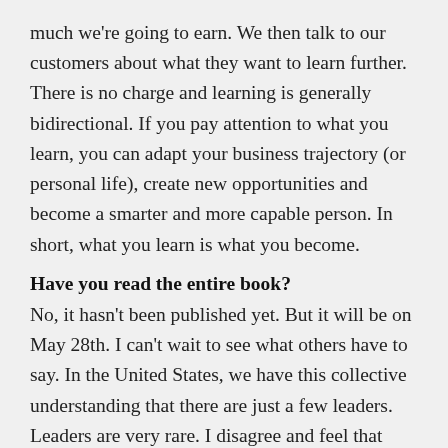much we're going to earn. We then talk to our customers about what they want to learn further. There is no charge and learning is generally bidirectional. If you pay attention to what you learn, you can adapt your business trajectory (or personal life), create new opportunities and become a smarter and more capable person. In short, what you learn is what you become.
Have you read the entire book?
No, it hasn't been published yet. But it will be on May 28th. I can't wait to see what others have to say. In the United States, we have this collective understanding that there are just a few leaders. Leaders are very rare. I disagree and feel that Steven feels the same way. We all have leadership within us. We just have to let it out,